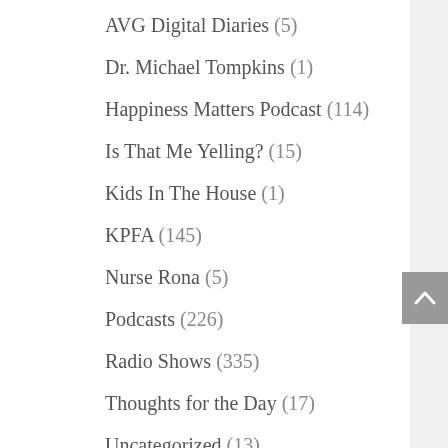AVG Digital Diaries (5)
Dr. Michael Tompkins (1)
Happiness Matters Podcast (114)
Is That Me Yelling? (15)
Kids In The House (1)
KPFA (145)
Nurse Rona (5)
Podcasts (226)
Radio Shows (335)
Thoughts for the Day (17)
Uncategorized (13)